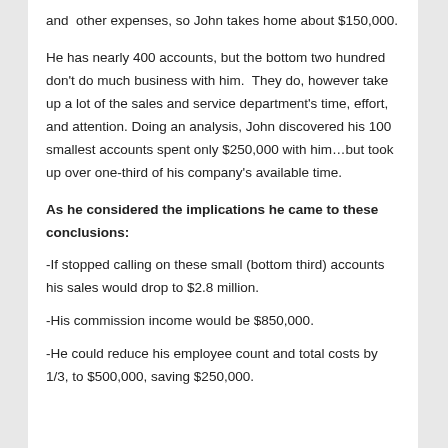and  other expenses, so John takes home about $150,000.
He has nearly 400 accounts, but the bottom two hundred don't do much business with him.  They do, however take up a lot of the sales and service department's time, effort, and attention. Doing an analysis, John discovered his 100 smallest accounts spent only $250,000 with him…but took up over one-third of his company's available time.
As he considered the implications he came to these conclusions:
-If stopped calling on these small (bottom third) accounts his sales would drop to $2.8 million.
-His commission income would be $850,000.
-He could reduce his employee count and total costs by 1/3, to $500,000, saving $250,000.